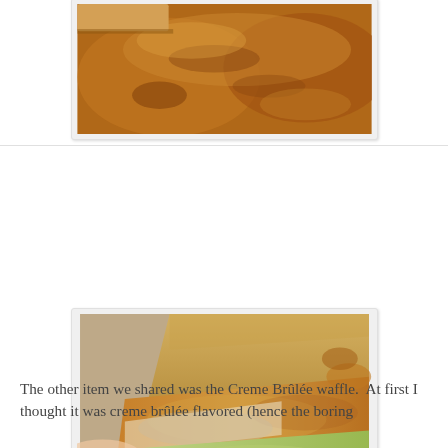[Figure (photo): Close-up photo of a fried chicken sandwich with a golden-brown breaded chicken fillet on a bun, cropped partially at top.]
[Figure (photo): Close-up photo of a fried chicken sandwich cut in half, showing the cross-section with breaded chicken, shredded lettuce, and a bun.]
The other item we shared was the Creme Brûlée waffle.  At first I thought it was creme brûlée flavored (hence the boring